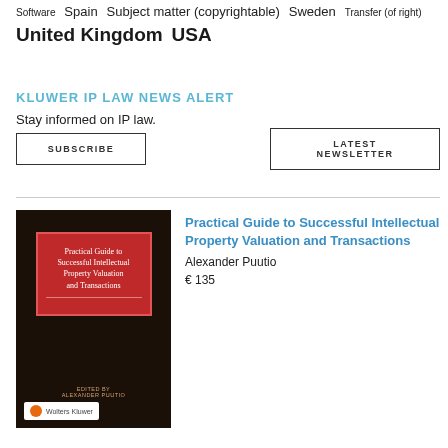Software Spain Subject matter (copyrightable) Sweden Transfer (of right) United Kingdom USA
KLUWER IP LAW NEWS ALERT
Stay informed on IP law.
SUBSCRIBE
LATEST NEWSLETTER
[Figure (illustration): Book cover of 'Practical Guide to Successful Intellectual Property Valuation and Transactions' by Alexander Puutio, published by Wolters Kluwer. Dark brown/black cover with a red rectangular panel containing white title text.]
Practical Guide to Successful Intellectual Property Valuation and Transactions
Alexander Puutio
€ 135